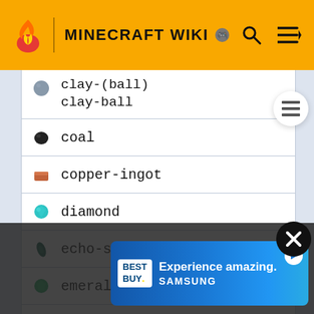MINECRAFT WIKI
clay-(ball)
clay-ball
coal
copper-ingot
diamond
echo-shard
emerald
ender-pearl
feather
[Figure (screenshot): Best Buy advertisement banner: 'Experience amazing. SAMSUNG']